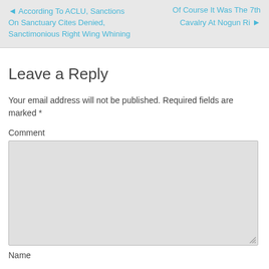◄ According To ACLU, Sanctions On Sanctuary Cites Denied, Sanctimonious Right Wing Whining
Of Course It Was The 7th Cavalry At Nogun Ri ►
Leave a Reply
Your email address will not be published. Required fields are marked *
Comment
Name